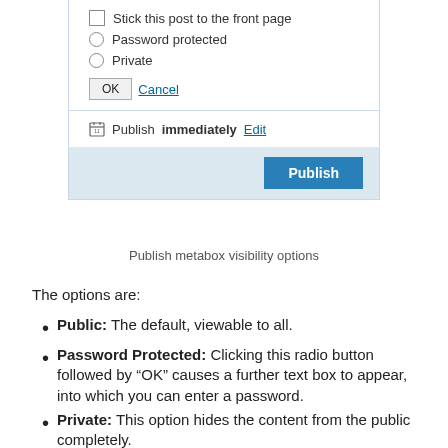[Figure (screenshot): WordPress Publish metabox showing visibility options: a checkbox for 'Stick this post to the front page', radio buttons for 'Password protected' and 'Private', OK and Cancel buttons, a calendar icon with 'Publish immediately Edit' text, and a blue 'Publish' button on a light blue footer bar.]
Publish metabox visibility options
The options are:
Public: The default, viewable to all.
Password Protected: Clicking this radio button followed by “OK” causes a further text box to appear, into which you can enter a password.
Private: This option hides the content from the public completely.